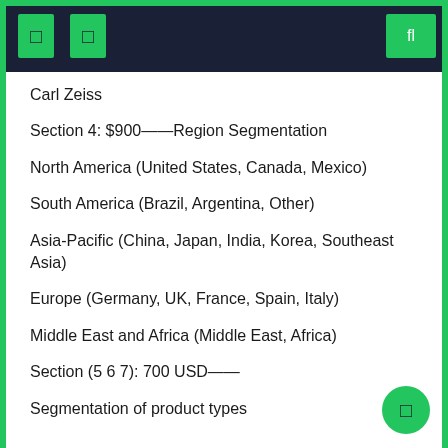Carl Zeiss
Section 4: $900——Region Segmentation
North America (United States, Canada, Mexico)
South America (Brazil, Argentina, Other)
Asia-Pacific (China, Japan, India, Korea, Southeast Asia)
Europe (Germany, UK, France, Spain, Italy)
Middle East and Africa (Middle East, Africa)
Section (5 6 7): 700 USD——
Segmentation of product types